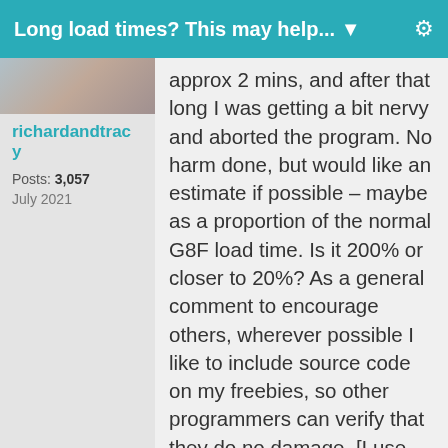Long load times? This may help... ▾ ⚙
[Figure (photo): User avatar image for richardandtracy]
richardandtracy
Posts: 3,057
July 2021
approx 2 mins, and after that long I was getting a bit nervy and aborted the program. No harm done, but would like an estimate if possible – maybe as a proportion of the normal G8F load time. Is it 200% or closer to 20%? As a general comment to encourage others, wherever possible I like to include source code on my freebies, so other programmers can verify that they do no damage. [I use Embarcadero's C++ Builder, and it looks as if your program may be VB, so couldn't rip your